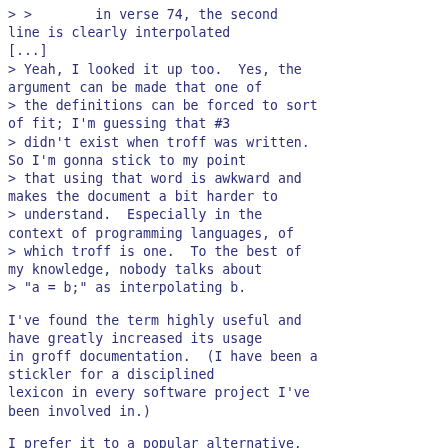> >        in verse 74, the second line is clearly interpolated
[...]
> Yeah, I looked it up too.  Yes, the argument can be made that one of
> the definitions can be forced to sort of fit; I'm guessing that #3
> didn't exist when troff was written. So I'm gonna stick to my point
> that using that word is awkward and makes the document a bit harder to
> understand.  Especially in the context of programming languages, of
> which troff is one.  To the best of my knowledge, nobody talks about
> "a = b;" as interpolating b.
I've found the term highly useful and have greatly increased its usage in groff documentation.  (I have been a stickler for a disciplined lexicon in every software project I've been involved in.)
I prefer it to a popular alternative, "expansion", which is misleading--especially to novices, who then make the reasonable assumption, given the everyday meaning of that word, that whatever